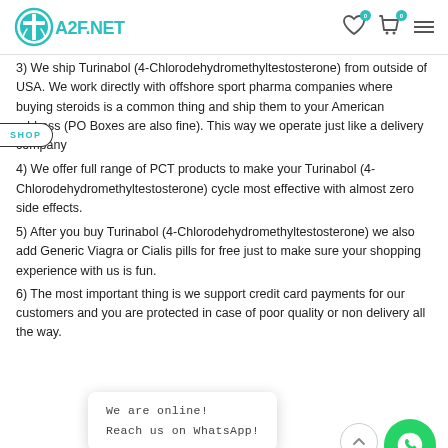A2F.NET
3) We ship Turinabol (4-Chlorodehydromethyltestosterone) from outside of USA. We work directly with offshore sport pharma companies where buying steroids is a common thing and ship them to your American address (PO Boxes are also fine). This way we operate just like a delivery company
4) We offer full range of PCT products to make your Turinabol (4-Chlorodehydromethyltestosterone) cycle most effective with almost zero side effects.
5) After you buy Turinabol (4-Chlorodehydromethyltestosterone) we also add Generic Viagra or Cialis pills for free just to make sure your shopping experience with us is fun.
6) The most important thing is we support credit card payments for our customers and you are protected in case of poor quality or non delivery all the way.